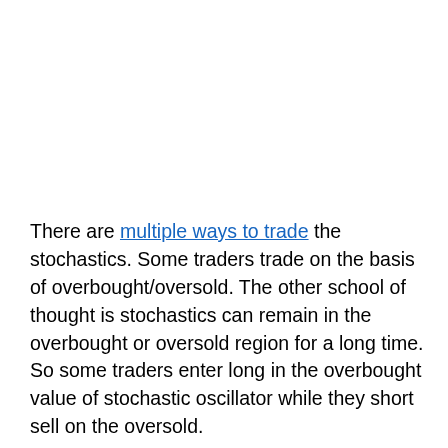There are multiple ways to trade the stochastics. Some traders trade on the basis of overbought/oversold. The other school of thought is stochastics can remain in the overbought or oversold region for a long time. So some traders enter long in the overbought value of stochastic oscillator while they short sell on the oversold.
traders trade on the basis of %d and %k line
[Figure (other): Advertisement banner: Firestone auto care. Image of a Firestone store. Text: Get An Oil Change Near You. Red Learn More button.]